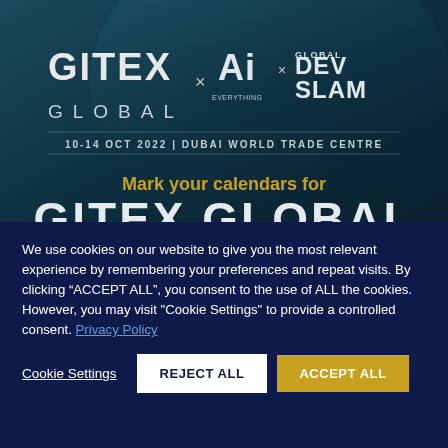[Figure (screenshot): GITEX GLOBAL x Ai Everything x Global Dev Slam event banner. Dark teal/navy background with white logos. Text reads: 10-14 OCT 2022 | DUBAI WORLD TRADE CENTRE. Below: 'Mark your calendars for GITEX GLOBAL' in white and yellow text.]
We use cookies on our website to give you the most relevant experience by remembering your preferences and repeat visits. By clicking “ACCEPT ALL”, you consent to the use of ALL the cookies. However, you may visit "Cookie Settings" to provide a controlled consent. Privacy Policy
Cookie Settings
REJECT ALL
ACCEPT ALL